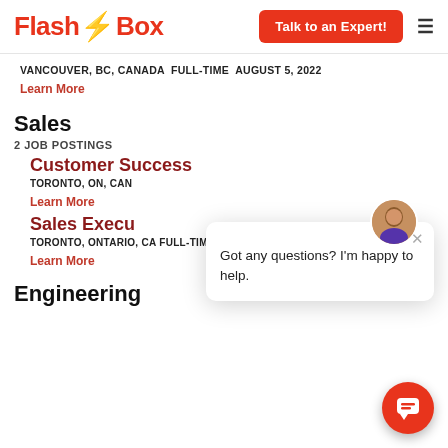FlashBox — Talk to an Expert!
VANCOUVER, BC, CANADA FULL-TIME AUGUST 5, 2022
Learn More
Sales
2 JOB POSTINGS
Customer Success
TORONTO, ON, CAN
Learn More
Sales Execu
TORONTO, ONTARIO, CA FULL-TIME AUGUST 5, 2022
Learn More
[Figure (screenshot): Chat popup with avatar saying 'Got any questions? I'm happy to help.']
Engineering